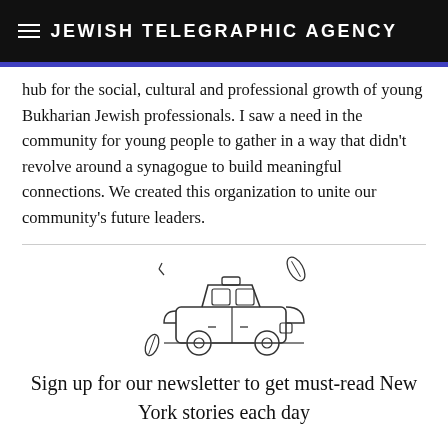JEWISH TELEGRAPHIC AGENCY
hub for the social, cultural and professional growth of young Bukharian Jewish professionals. I saw a need in the community for young people to gather in a way that didn't revolve around a synagogue to build meaningful connections. We created this organization to unite our community's future leaders.
[Figure (illustration): Line drawing illustration of a taxi cab with decorative leaf/feather motifs around it]
Sign up for our newsletter to get must-read New York stories each day